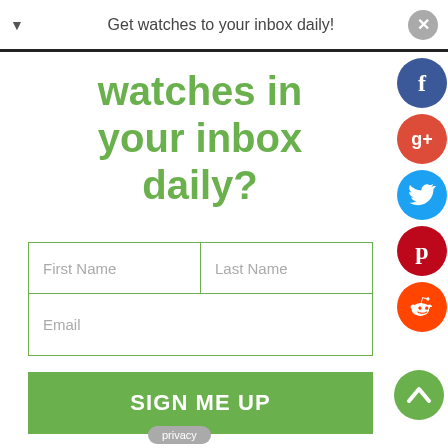Get watches to your inbox daily!
watches in your inbox daily?
[Figure (other): Email signup form with First Name, Last Name, Email fields and a SIGN ME UP button]
[Figure (other): Social media share buttons: Facebook, Google+, Twitter, Pinterest, Reddit]
privacy